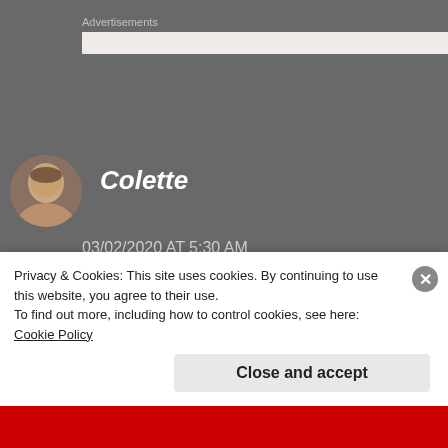Advertisements
Colette
03/02/2020 AT 5:30 AM
The parked-car business makes sense. Nobody – chances are – is going to come looking for them there. It seems like you've learned things worth
Privacy & Cookies: This site uses cookies. By continuing to use this website, you agree to their use.
To find out more, including how to control cookies, see here: Cookie Policy
Close and accept